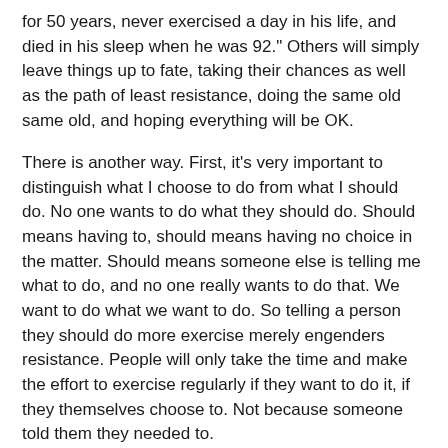for 50 years, never exercised a day in his life, and died in his sleep when he was 92." Others will simply leave things up to fate, taking their chances as well as the path of least resistance, doing the same old same old, and hoping everything will be OK.
There is another way. First, it’s very important to distinguish what I choose to do from what I should do. No one wants to do what they should do. Should means having to, should means having no choice in the matter. Should means someone else is telling me what to do, and no one really wants to do that. We want to do what we want to do. So telling a person they should do more exercise merely engenders resistance. People will only take the time and make the effort to exercise regularly if they want to do it, if they themselves choose to. Not because someone told them they needed to.
The secret of adding exercise to your life is discovering why you would want to do it — examining the payoff. Sure